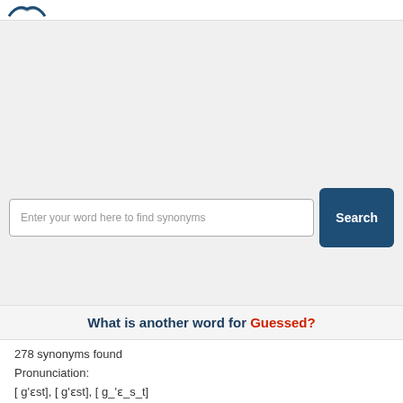Enter your word here to find synonyms
What is another word for Guessed?
278 synonyms found
Pronunciation:
[ g'ɛst], [ g'ɛst], [ g_'ɛ_s_t]